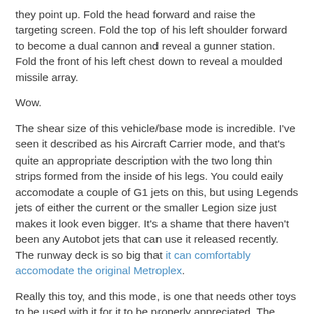they point up. Fold the head forward and raise the targeting screen. Fold the top of his left shoulder forward to become a dual cannon and reveal a gunner station. Fold the front of his left chest down to reveal a moulded missile array.
Wow.
The shear size of this vehicle/base mode is incredible. I've seen it described as his Aircraft Carrier mode, and that's quite an appropriate description with the two long thin strips formed from the inside of his legs. You could eaily accomodate a couple of G1 jets on this, but using Legends jets of either the current or the smaller Legion size just makes it look even bigger. It's a shame that there haven't been any Autobot jets that can use it released recently. The runway deck is so big that it can comfortably accomodate the original Metroplex.
Really this toy, and this mode, is one that needs other toys to be used with it for it to be properly appreciated. The gunner station on his shoulder can easily accomodate a Legends figure: I've had Scamper sit in there but have also used the Autobot's gunner Bluestreak. The backs of his arms, now...